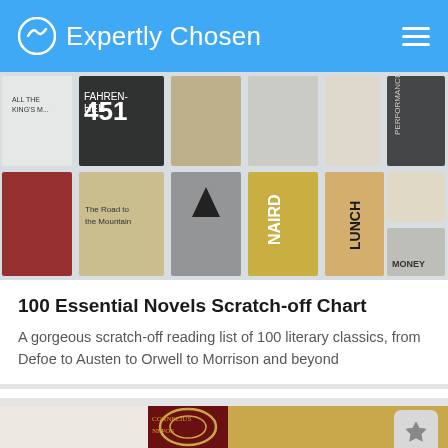Expertly Chosen
[Figure (photo): Overhead shot of multiple book covers arranged in a grid including Fahrenheit 451 and other titles]
100 Essential Novels Scratch-off Chart
A gorgeous scratch-off reading list of 100 literary classics, from Defoe to Austen to Orwell to Morrison and beyond
[Figure (photo): A dark red hardcover book with gold design pattern next to its gold slipcase/box]